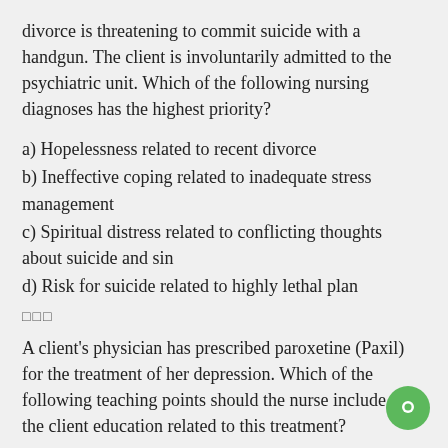divorce is threatening to commit suicide with a handgun. The client is involuntarily admitted to the psychiatric unit. Which of the following nursing diagnoses has the highest priority?
a) Hopelessness related to recent divorce
b) Ineffective coping related to inadequate stress management
c) Spiritual distress related to conflicting thoughts about suicide and sin
d) Risk for suicide related to highly lethal plan
□□□
A client's physician has prescribed paroxetine (Paxil) for the treatment of her depression. Which of the following teaching points should the nurse include in the client education related to this treatment?
a) "Make sure that you don't change the quantity or timing of your medication without first